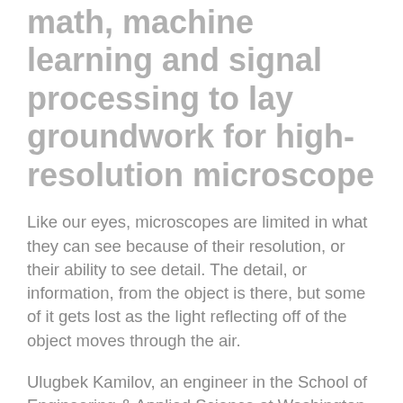math, machine learning and signal processing to lay groundwork for high-resolution microscope
Like our eyes, microscopes are limited in what they can see because of their resolution, or their ability to see detail. The detail, or information, from the object is there, but some of it gets lost as the light reflecting off of the object moves through the air.
Ulugbek Kamilov, an engineer in the School of Engineering & Applied Science at Washington University in St. Louis, plans to use a three-year, $265,293 grant from the National Science Foundation to capture the information that normally gets lost and add it to the information researchers typically receive from microscopes. Ultimately, this work, along with that of his collaborators at Thomas Perona Helmand...